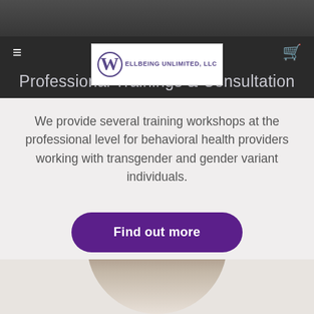(216) 701-0371
[Figure (logo): WellBeing Unlimited LLC logo with W in circle and company name]
Professional Trainings & Consultation
We provide several training workshops at the professional level for behavioral health providers working with transgender and gender variant individuals.
Find out more
[Figure (photo): Partial photo of a person's head with brown hair, cropped circular frame at bottom of page]